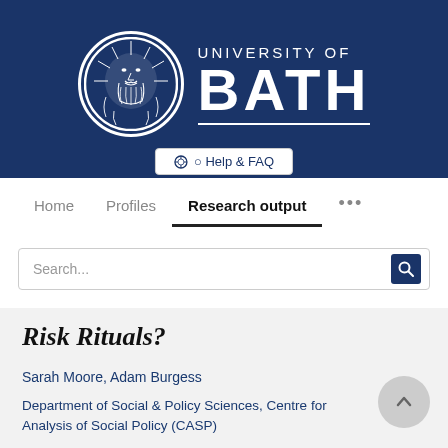[Figure (logo): University of Bath logo: circular emblem with bearded face on left, 'UNIVERSITY OF BATH' text on right, on dark navy background]
Help & FAQ
Home   Profiles   Research output   ...
Search...
Risk Rituals?
Sarah Moore, Adam Burgess
Department of Social & Policy Sciences, Centre for Analysis of Social Policy (CASP)